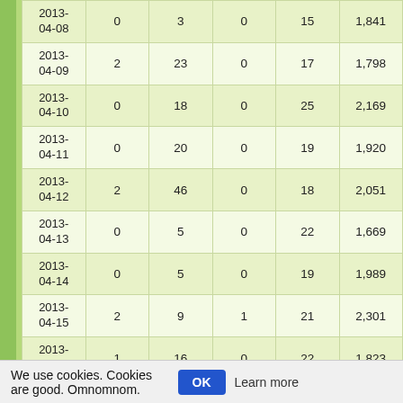| Date | Col1 | Col2 | Col3 | Col4 | Col5 |
| --- | --- | --- | --- | --- | --- |
| 2013-04-08 | 0 | 3 | 0 | 15 | 1,841 |
| 2013-04-09 | 2 | 23 | 0 | 17 | 1,798 |
| 2013-04-10 | 0 | 18 | 0 | 25 | 2,169 |
| 2013-04-11 | 0 | 20 | 0 | 19 | 1,920 |
| 2013-04-12 | 2 | 46 | 0 | 18 | 2,051 |
| 2013-04-13 | 0 | 5 | 0 | 22 | 1,669 |
| 2013-04-14 | 0 | 5 | 0 | 19 | 1,989 |
| 2013-04-15 | 2 | 9 | 1 | 21 | 2,301 |
| 2013-04-16 | 1 | 16 | 0 | 22 | 1,823 |
| 2013-04-17 | 0 | 11 | 0 | 16 | 1,771 |
| 2013-04-18 | 0 | 11 | 0 | 16 | 1,616 |
| 2013-04-19 | 1 | 9 | 0 | 25 | 1,626 |
| 2013-04-20 | 2 | 19 | 0 | 16 | 1,522 |
We use cookies. Cookies are good. Omnomnom. OK Learn more